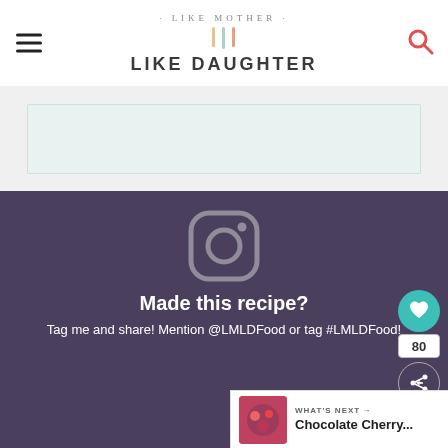· LIKE MOTHER · LIKE DAUGHTER
[Figure (screenshot): Light teal/green advertisement banner placeholder area]
[Figure (infographic): Dark purple Instagram CTA section with Instagram logo icon and text: Made this recipe? Tag me and share! Mention @LMLDFood or tag #LMLDFood!]
Made this recipe?
Tag me and share! Mention @LMLDFood or tag #LMLDFood!
[Figure (infographic): WHAT'S NEXT arrow callout with Chocolate Cherry... thumbnail image]